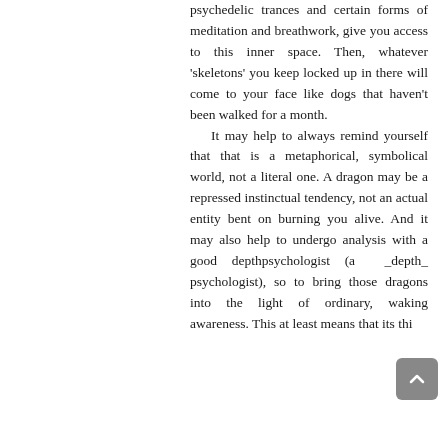psychedelic trances and certain forms of meditation and breathwork, give you access to this inner space. Then, whatever 'skeletons' you keep locked up in there will come to your face like dogs that haven't been walked for a month. It may help to always remind yourself that that is a metaphorical, symbolical world, not a literal one. A dragon may be a repressed instinctual tendency, not an actual entity bent on burning you alive. And it may also help to undergo analysis with a good depthpsychologist (a _depth_ psychologist), so to bring those dragons into the light of ordinary, waking awareness. This at least means that its this